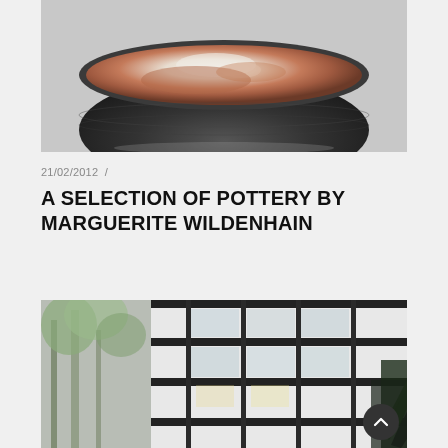[Figure (photo): A ceramic pottery bowl with dark grey-black exterior and rusty-brown and white glazed interior, photographed on a grey background.]
21/02/2012  /
A SELECTION OF POTTERY BY MARGUERITE WILDENHAIN
[Figure (photo): A modernist building exterior with large glass windows and dark frames, with trees visible on the left side and plants on the right.]